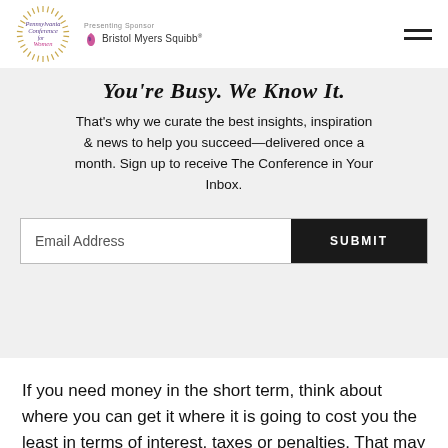Pennsylvania Conference for Women | Presenting Sponsor | Bristol Myers Squibb
You're Busy. We Know It.
That's why we curate the best insights, inspiration & news to help you succeed—delivered once a month. Sign up to receive The Conference in Your Inbox.
Email Address | SUBMIT
If you need money in the short term, think about where you can get it where it is going to cost you the least in terms of interest, taxes or penalties. That may mean tapping an emergency fund or home equity loan